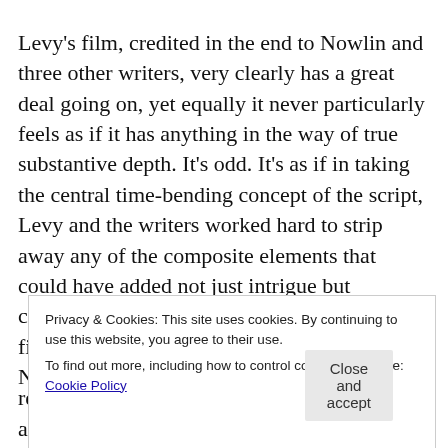Levy's film, credited in the end to Nowlin and three other writers, very clearly has a great deal going on, yet equally it never particularly feels as if it has anything in the way of true substantive depth. It's odd. It's as if in taking the central time-bending concept of the script, Levy and the writers worked hard to strip away any of the composite elements that could have added not just intrigue but complexity, or the sense of true science-fiction, in order to create a cookie-cutter Netflix action blockbuster.
Privacy & Cookies: This site uses cookies. By continuing to use this website, you agree to their use.
To find out more, including how to control cookies, see here: Cookie Policy
Close and accept
realities of never meeting his wife in the alternate